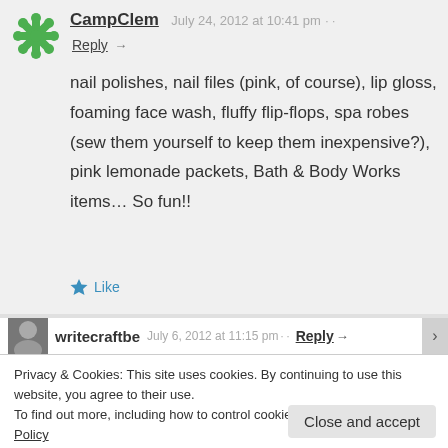[Figure (illustration): Green snowflake/asterisk avatar icon for CampClem]
CampClem   July 24, 2012 at 10:41 pm
Reply →
nail polishes, nail files (pink, of course), lip gloss, foaming face wash, fluffy flip-flops, spa robes (sew them yourself to keep them inexpensive?), pink lemonade packets, Bath & Body Works items… So fun!!
[Figure (photo): Small profile photo of writecraftbe user]
writecraftbe   July 6, 2012 at 11:15 pm   Reply →
Privacy & Cookies: This site uses cookies. By continuing to use this website, you agree to their use.
To find out more, including how to control cookies, see here: Cookie Policy
Close and accept